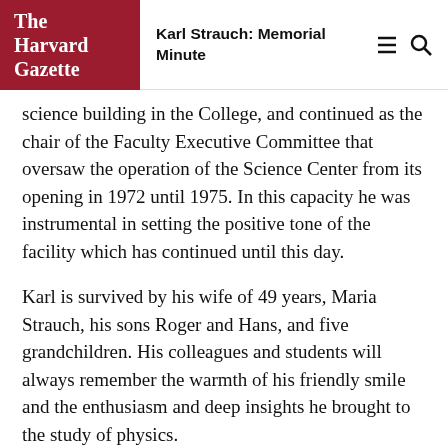The Harvard Gazette | Karl Strauch: Memorial Minute
science building in the College, and continued as the chair of the Faculty Executive Committee that oversaw the operation of the Science Center from its opening in 1972 until 1975. In this capacity he was instrumental in setting the positive tone of the facility which has continued until this day.
Karl is survived by his wife of 49 years, Maria Strauch, his sons Roger and Hans, and five grandchildren. His colleagues and students will always remember the warmth of his friendly smile and the enthusiasm and deep insights he brought to the study of physics.
Respectfully submitted,
Nicolaas Bloembergen
George W. Pr...